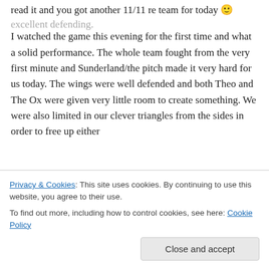read it and you got another 11/11 re team for today 🙂
I watched the game this evening for the first time and what a solid performance. The whole team fought from the very first minute and Sunderland/the pitch made it very hard for us today. The wings were well defended and both Theo and The Ox were given very little room to create something. We were also limited in our clever triangles from the sides in order to free up either
excellent defending.
Privacy & Cookies: This site uses cookies. By continuing to use this website, you agree to their use.
To find out more, including how to control cookies, see here: Cookie Policy